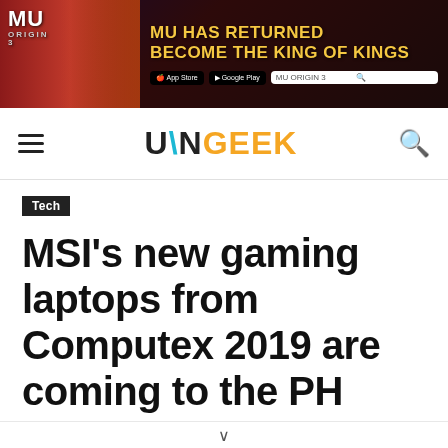[Figure (infographic): Advertisement banner for MU Origin 3 game. Dark red/purple background with game character art. Text reads 'MU HAS RETURNED BECOME THE KING OF KINGS'. App Store and Google Play buttons, search box with 'MU ORIGIN 3'.]
UNGEEK — navigation bar with hamburger menu and search icon
Tech
MSI's new gaming laptops from Computex 2019 are coming to the PH very soon